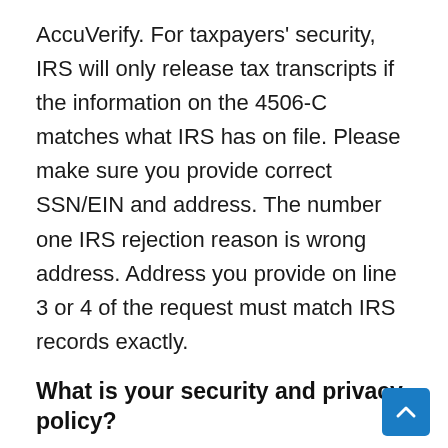AccuVerify. For taxpayers' security, IRS will only release tax transcripts if the information on the 4506-C matches what IRS has on file. Please make sure you provide correct SSN/EIN and address. The number one IRS rejection reason is wrong address. Address you provide on line 3 or 4 of the request must match IRS records exactly.
What is your security and privacy policy?
Please read our security & privacy policy. We do not sell, rent or share your personal information with any other organization except the IRS.
I just filed my tax return. How long should I wait before I request tax return transcript?